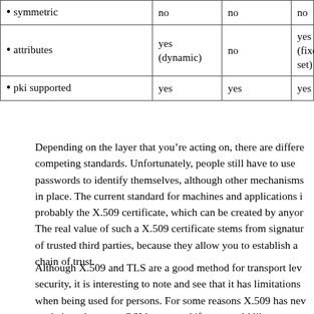|  |  |  |  |
| --- | --- | --- | --- |
| • symmetric | no | no | no |
| • attributes | yes (dynamic) | no | yes (fixed set) |
| • pki supported | yes | yes | yes |
Depending on the layer that you're acting on, there are different competing standards. Unfortunately, people still have to use passwords to identify themselves, although other mechanisms are in place. The current standard for machines and applications is probably the X.509 certificate, which can be created by anyone. The real value of such a X.509 certificate stems from signatures of trusted third parties, because they allow you to establish a chain of trust.
Although X.509 and TLS are a good method for transport level security, it is interesting to note and see that it has limitations when being used for persons. For some reasons X.509 has never made it to the upper OSI layers, and if you would like to use it